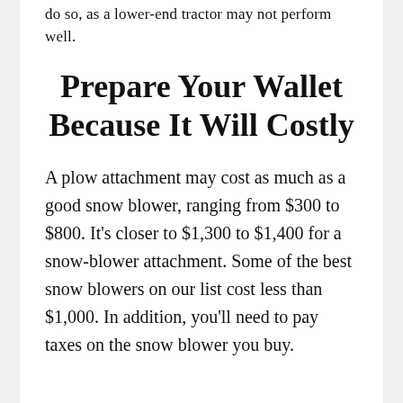do so, as a lower-end tractor may not perform well.
Prepare Your Wallet Because It Will Costly
A plow attachment may cost as much as a good snow blower, ranging from $300 to $800. It’s closer to $1,300 to $1,400 for a snow-blower attachment. Some of the best snow blowers on our list cost less than $1,000. In addition, you’ll need to pay taxes on the snow blower you buy.